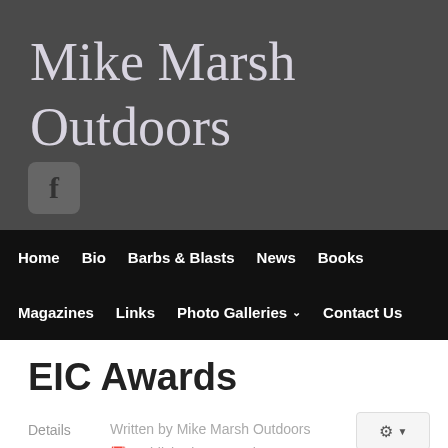Mike Marsh Outdoors
Home  Bio  Barbs & Blasts  News  Books  Magazines  Links  Photo Galleries  Contact Us
EIC Awards
Details
Written by Mike Marsh Outdoors
Published: 20 March 2017